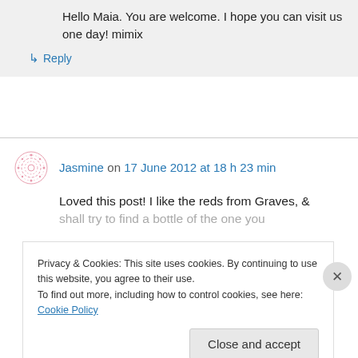Hello Maia. You are welcome. I hope you can visit us one day! mimix
↳ Reply
Jasmine on 17 June 2012 at 18 h 23 min
Loved this post! I like the reds from Graves, & shall try to find a bottle of the one you
Privacy & Cookies: This site uses cookies. By continuing to use this website, you agree to their use. To find out more, including how to control cookies, see here: Cookie Policy
Close and accept